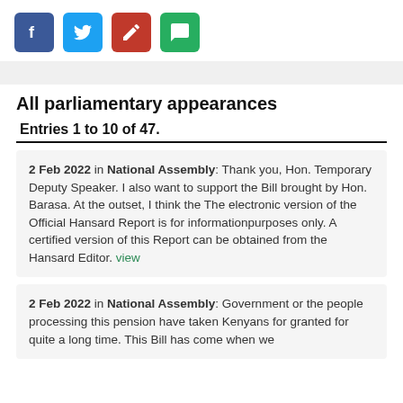[Figure (infographic): Row of four social media / action icon buttons: Facebook (blue), Twitter (light blue), Edit/pencil (red), Chat/comment (green)]
All parliamentary appearances
Entries 1 to 10 of 47.
2 Feb 2022 in National Assembly: Thank you, Hon. Temporary Deputy Speaker. I also want to support the Bill brought by Hon. Barasa. At the outset, I think the The electronic version of the Official Hansard Report is for informationpurposes only. A certified version of this Report can be obtained from the Hansard Editor. view
2 Feb 2022 in National Assembly: Government or the people processing this pension have taken Kenyans for granted for quite a long time. This Bill has come when we